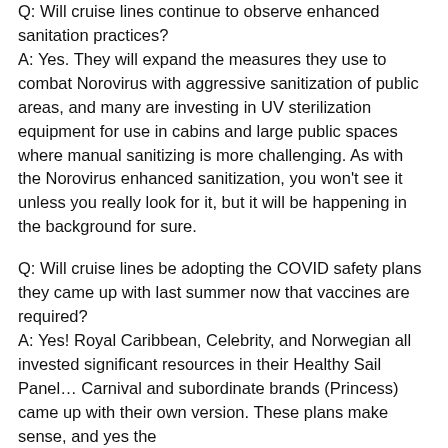Q: Will cruise lines continue to observe enhanced sanitation practices?
A: Yes. They will expand the measures they use to combat Norovirus with aggressive sanitization of public areas, and many are investing in UV sterilization equipment for use in cabins and large public spaces where manual sanitizing is more challenging. As with the Norovirus enhanced sanitization, you won't see it unless you really look for it, but it will be happening in the background for sure.
Q: Will cruise lines be adopting the COVID safety plans they came up with last summer now that vaccines are required?
A: Yes! Royal Caribbean, Celebrity, and Norwegian all invested significant resources in their Healthy Sail Panel… Carnival and subordinate brands (Princess) came up with their own version. These plans make sense, and yes the